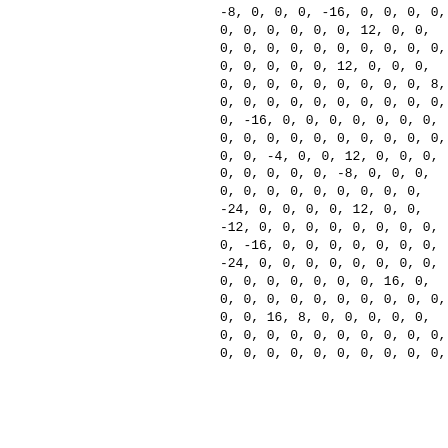-8, 0, 0, 0, -16, 0, 0, 0, 0,
0, 0, 0, 0, 0, 0, 12, 0, 0,
0, 0, 0, 0, 0, 0, 0, 0, 0, 0,
0, 0, 0, 0, 0, 12, 0, 0, 0,
0, 0, 0, 0, 0, 0, 0, 0, 0, 8,
0, 0, 0, 0, 0, 0, 0, 0, 0, 0,
0, -16, 0, 0, 0, 0, 0, 0, 0,
0, 0, 0, 0, 0, 0, 0, 0, 0, 0,
0, 0, -4, 0, 0, 12, 0, 0, 0,
0, 0, 0, 0, 0, -8, 0, 0, 0,
0, 0, 0, 0, 0, 0, 0, 0, 0,
-24, 0, 0, 0, 0, 12, 0, 0,
-12, 0, 0, 0, 0, 0, 0, 0, 0,
0, -16, 0, 0, 0, 0, 0, 0, 0,
-24, 0, 0, 0, 0, 0, 0, 0, 0,
0, 0, 0, 0, 0, 0, 0, 16, 0,
0, 0, 0, 0, 0, 0, 0, 0, 0, 0,
0, 0, 16, 8, 0, 0, 0, 0, 0,
0, 0, 0, 0, 0, 0, 0, 0, 0, 0,
0, 0, 0, 0, 0, 0, 0, 0, 0, 0,